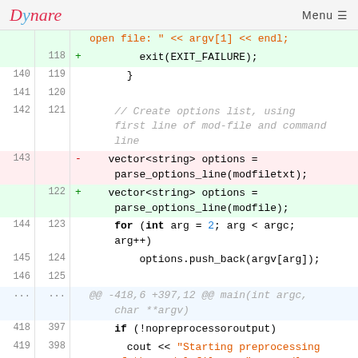Dynare   Menu
[Figure (screenshot): Code diff view showing changes to a C++ source file. Lines 118-125 and 143/122 and 397-398 with deleted and added lines shown in red/green backgrounds. Shows changes to parse_options_line calls from modfiletxt to modfile.]